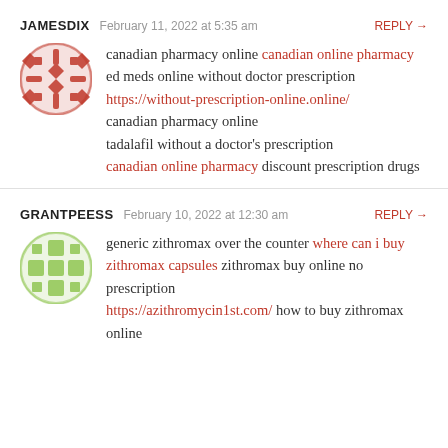JAMESDIX  February 11, 2022 at 5:35 am  REPLY →
canadian pharmacy online canadian online pharmacy ed meds online without doctor prescription https://without-prescription-online.online/ canadian pharmacy online tadalafil without a doctor's prescription canadian online pharmacy discount prescription drugs
GRANTPEESS  February 10, 2022 at 12:30 am  REPLY →
generic zithromax over the counter where can i buy zithromax capsules zithromax buy online no prescription https://azithromycin1st.com/ how to buy zithromax online